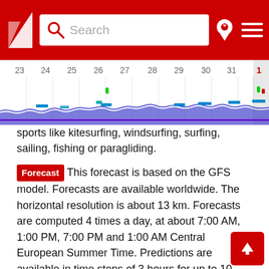Search [Windy app header with logo, search bar, pin icon, menu icon]
[Figure (other): Wind forecast chart timeline showing dates 23 through 31 and 1, with colored wind/wave indicators along a horizontal axis]
sports like kitesurfing, windsurfing, surfing, sailing, fishing or paragliding.
Forecast  This forecast is based on the GFS model. Forecasts are available worldwide. The horizontal resolution is about 13 km. Forecasts are computed 4 times a day, at about 7:00 AM, 1:00 PM, 7:00 PM and 1:00 AM Central European Summer Time. Predictions are available in time steps of 3 hours for up to 10 days into the future. The arrows point in the direction in which the wind is blowing.
Check the wind forecast for Guadalix de la Sierra when you search for the best travel destinations for your kiteboarding, windsurfing or sailing vacations in Spain. Or use our wind forecast to find the wind speed today in Guadalix de la Sierra or to have a look at the direction tomorrow at Guadalix de la Sierra.